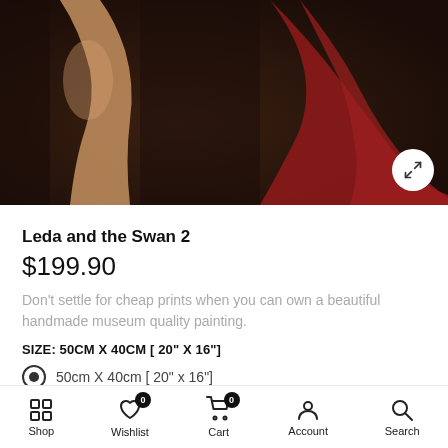[Figure (photo): Painting detail showing a reclining figure with a leg visible, draped in red fabric against a dark background. Leda and the Swan 2 artwork.]
Leda and the Swan 2
$199.90
Don't settle for cheap prints when you can own a beautiful handmade museum quality painting.
SIZE: 50CM X 40CM [ 20" X 16"]
50cm X 40cm [ 20" x 16"]
60cm X 50cm [ 24" x 20"]
90cm X 60cm [ 36" x 24" ]
Shop  Wishlist  Cart  Account  Search